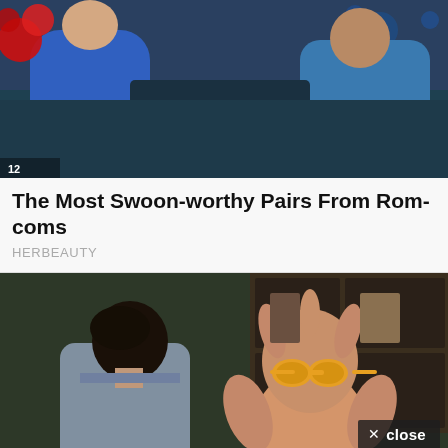[Figure (photo): TV show screenshot showing people sitting on a couch, one in a blue dress, another in a blue shirt, with red balloons visible in the background]
The Most Swoon-worthy Pairs From Rom-coms
HERBEAUTY
[Figure (photo): A scene from the TV show Friends showing a person with a turkey on their head wearing sunglasses, facing another character in a grey shirt. A 'close' button overlay is visible in the bottom right corner.]
Put On Those Thanksgiving Pants & Enjoy 'Friends' Best Episodes
BRAINBERRIES